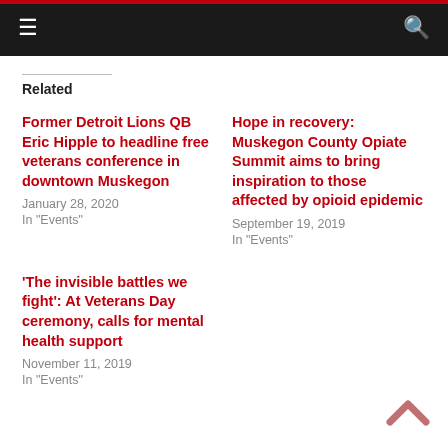Navigation header with menu and search icons
Related
Former Detroit Lions QB Eric Hipple to headline free veterans conference in downtown Muskegon — January 28, 2020 — In "Events"
Hope in recovery: Muskegon County Opiate Summit aims to bring inspiration to those affected by opioid epidemic — September 19, 2019 — In "Events"
'The invisible battles we fight': At Veterans Day ceremony, calls for mental health support — November 11, 2019 — In "Events"